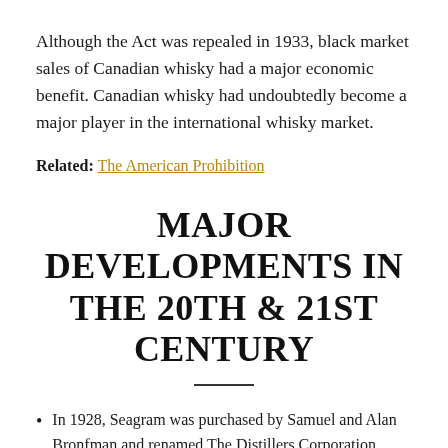Although the Act was repealed in 1933, black market sales of Canadian whisky had a major economic benefit. Canadian whisky had undoubtedly become a major player in the international whisky market.
Related: The American Prohibition
MAJOR DEVELOPMENTS IN THE 20TH & 21ST CENTURY
In 1928, Seagram was purchased by Samuel and Alan Bronfman and renamed The Distillers Corporation. Over the